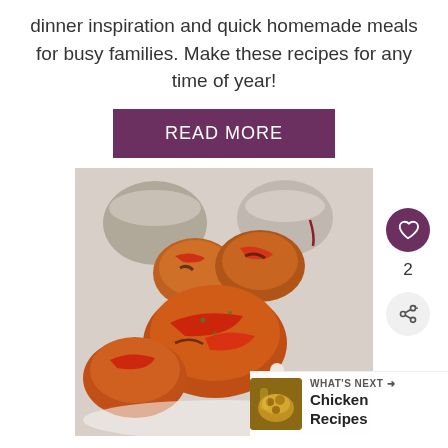dinner inspiration and quick homemade meals for busy families. Make these recipes for any time of year!
READ MORE
[Figure (photo): Grilled or baked chicken drumsticks and thighs with red sauce/glaze on a white plate, with cups/bowls in the background. Side actions include a heart (like) button with count 2 and a share button. A 'What's Next' bar shows Chicken Recipes.]